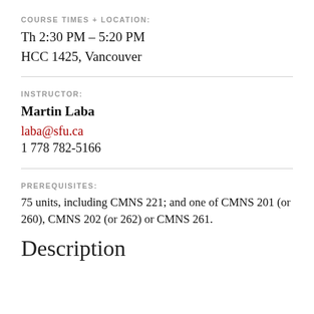COURSE TIMES + LOCATION:
Th 2:30 PM – 5:20 PM
HCC 1425, Vancouver
INSTRUCTOR:
Martin Laba
laba@sfu.ca
1 778 782-5166
PREREQUISITES:
75 units, including CMNS 221; and one of CMNS 201 (or 260), CMNS 202 (or 262) or CMNS 261.
Description